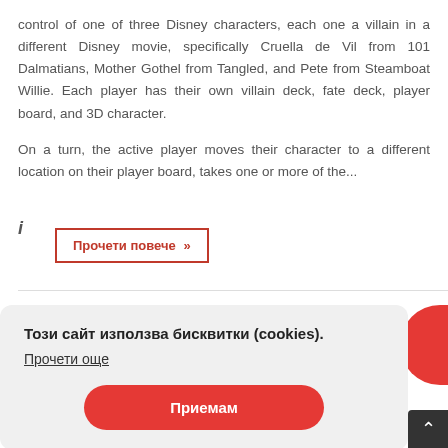control of one of three Disney characters, each one a villain in a different Disney movie, specifically Cruella de Vil from 101 Dalmatians, Mother Gothel from Tangled, and Pete from Steamboat Willie. Each player has their own villain deck, fate deck, player board, and 3D character.
On a turn, the active player moves their character to a different location on their player board, takes one or more of the...
i
Прочети повече »
Този сайт използва бисквитки (cookies). Прочети още
Приемам